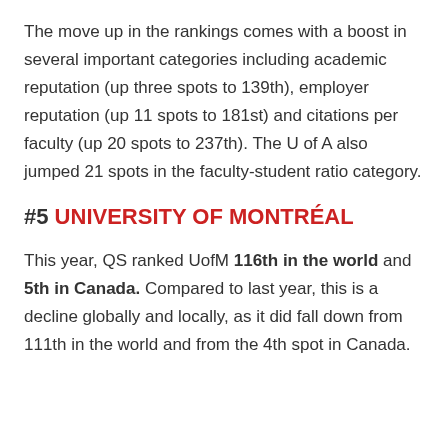The move up in the rankings comes with a boost in several important categories including academic reputation (up three spots to 139th), employer reputation (up 11 spots to 181st) and citations per faculty (up 20 spots to 237th). The U of A also jumped 21 spots in the faculty-student ratio category.
#5 UNIVERSITY OF MONTRÉAL
This year, QS ranked UofM 116th in the world and 5th in Canada. Compared to last year, this is a decline globally and locally, as it did fall down from 111th in the world and from the 4th spot in Canada.